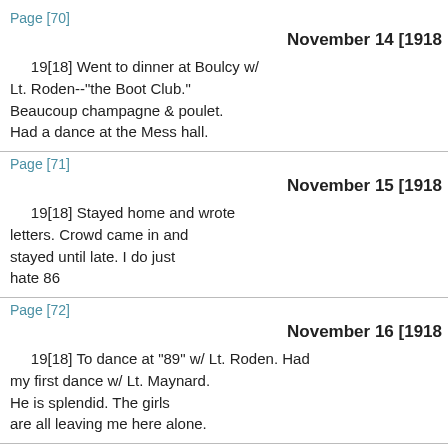Page [70]
November 14 [1918
19[18] Went to dinner at Boulcy w/ Lt. Roden--"the Boot Club." Beaucoup champagne & poulet. Had a dance at the Mess hall.
Page [71]
November 15 [1918
19[18] Stayed home and wrote letters. Crowd came in and stayed until late. I do just hate 86
Page [72]
November 16 [1918
19[18] To dance at "89" w/ Lt. Roden. Had my first dance w/ Lt. Maynard. He is splendid. The girls are all leaving me here alone.
Page [73]